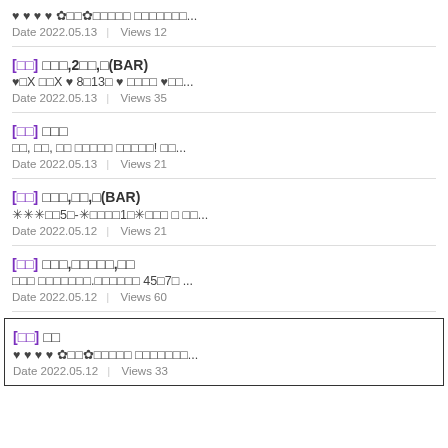♥ ♥ ♥ ♥ ✿□□✿□□□□□ □□□□□□□...
Date 2022.05.13 | Views 12
[□□] □□□,2□□,□(BAR)
♥□X □□X ♥ 8□13□ ♥ □□□□ ♥□□...
Date 2022.05.13 | Views 35
[□□] □□□
□□, □□, □□ □□□□□ □□□□□! □□...
Date 2022.05.13 | Views 21
[□□] □□□,□□,□(BAR)
✳✳✳□□5□-✳□□□□1□✳□□□ □ □□...
Date 2022.05.12 | Views 21
[□□] □□□,□□□□□,□□
□□□ □□□□□□□.□□□□□□ 45□7□ ...
Date 2022.05.12 | Views 60
[□□] □□
♥ ♥ ♥ ♥ ✿□□✿□□□□□ □□□□□□□...
Date 2022.05.12 | Views 33